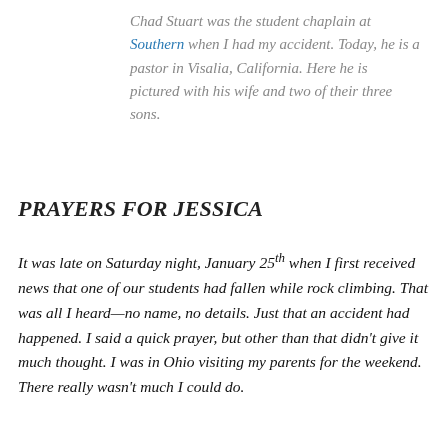Chad Stuart was the student chaplain at Southern when I had my accident. Today, he is a pastor in Visalia, California. Here he is pictured with his wife and two of their three sons.
PRAYERS FOR JESSICA
It was late on Saturday night, January 25th when I first received news that one of our students had fallen while rock climbing. That was all I heard—no name, no details. Just that an accident had happened. I said a quick prayer, but other than that didn't give it much thought. I was in Ohio visiting my parents for the weekend. There really wasn't much I could do.